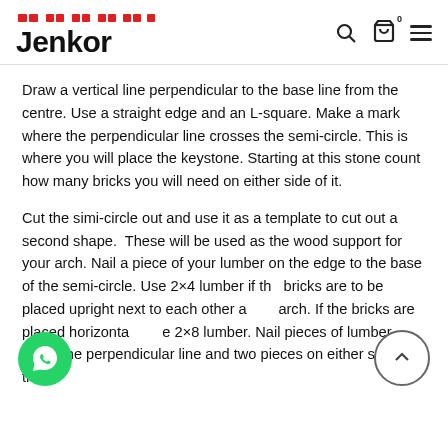Jenkor
Draw a vertical line perpendicular to the base line from the centre. Use a straight edge and an L-square. Make a mark where the perpendicular line crosses the semi-circle. This is where you will place the keystone. Starting at this stone count how many bricks you will need on either side of it.
Cut the simi-circle out and use it as a template to cut out a second shape.  These will be used as the wood support for your arch. Nail a piece of your lumber on the edge to the base of the semi-circle. Use 2×4 lumber if the bricks are to be placed upright next to each other a arch. If the bricks are placed horizontal e 2×8 lumber. Nail pieces of lumber along the perpendicular line and two pieces on either side of the